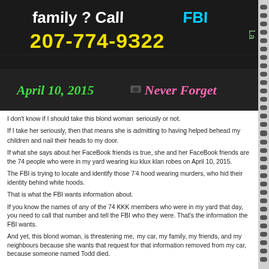[Figure (photo): Photo of a dark car surface with handwritten text in colorful chalk/marker: 'family? Call FBI 207-774-9322' and 'April 10, 2015 Never Forget']
I don't know if I should take this blond woman seriously or not.
If I take her seriously, then that means she is admitting to having helped behead my children and nail their heads to my door.
If what she says about her FaceBook friends is true, she and her FaceBook friends are the 74 people who were in my yard wearing ku klux klan robes on April 10, 2015.
The FBI is trying to locate and identify those 74 hood wearing murders, who hid their identity behind white hoods.
That is what the FBI wants information about.
If you know the names of any of the 74 KKK members who were in my yard that day, you need to call that number and tell the FBI who they were. That's the information the FBI wants.
And yet, this blond woman, is threatening me, my car, my family, my friends, and my neighbours because she wants that request for that information removed from my car, because someone named Todd died.